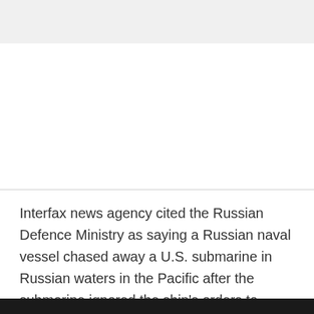Interfax news agency cited the Russian Defence Ministry as saying a Russian naval vessel chased away a U.S. submarine in Russian waters in the Pacific after the submarine ignored the ship's orders to surface.
Feedback